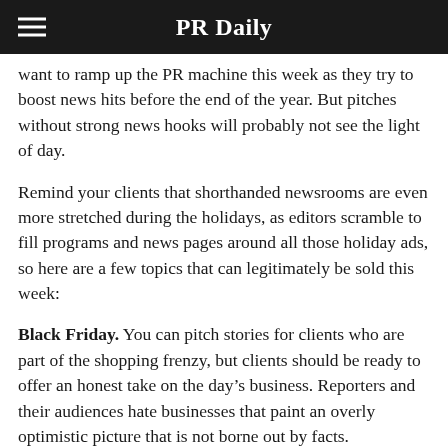PR Daily
want to ramp up the PR machine this week as they try to boost news hits before the end of the year. But pitches without strong news hooks will probably not see the light of day.
Remind your clients that shorthanded newsrooms are even more stretched during the holidays, as editors scramble to fill programs and news pages around all those holiday ads, so here are a few topics that can legitimately be sold this week:
Black Friday. You can pitch stories for clients who are part of the shopping frenzy, but clients should be ready to offer an honest take on the day’s business. Reporters and their audiences hate businesses that paint an overly optimistic picture that is not borne out by facts.
Cyber Monday. Online retailers, and those who keep them running smoothly, are quickly taking center stage as shoppers avoid crowded stores and misleading door-busters.